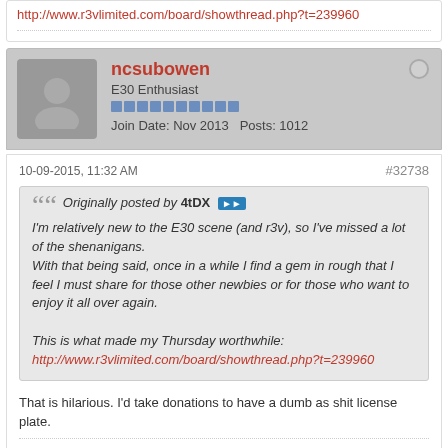http://www.r3vlimited.com/board/showthread.php?t=239960
ncsubowen
E30 Enthusiast
Join Date: Nov 2013  Posts: 1012
10-09-2015, 11:32 AM
#32738
Originally posted by 4tDX
I'm relatively new to the E30 scene (and r3v), so I've missed a lot of the shenanigans.
With that being said, once in a while I find a gem in rough that I feel I must share for those other newbies or for those who want to enjoy it all over again.

This is what made my Thursday worthwhile:
http://www.r3vlimited.com/board/showthread.php?t=239960
That is hilarious. I'd take donations to have a dumb as shit license plate.
sigpic
4 doors.. so much room for activities!